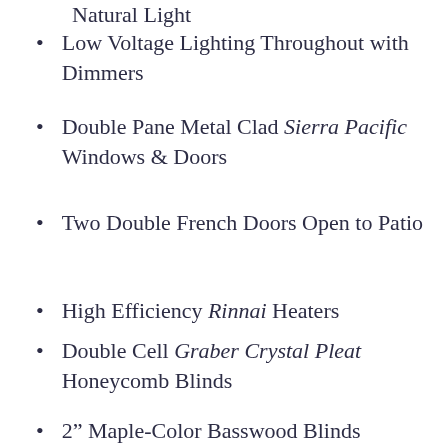Natural Light
Low Voltage Lighting Throughout with Dimmers
Double Pane Metal Clad Sierra Pacific Windows & Doors
Two Double French Doors Open to Patio
High Efficiency Rinnai Heaters
Double Cell Graber Crystal Pleat Honeycomb Blinds
2” Maple-Color Basswood Blinds
Cultured Stone Living Room Wall (Carolina Ledgestone)
Hand-Troweled Structolite Plaster Walls
Hand-Brushed Glaze-Finished Plaster